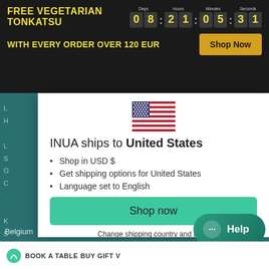[Figure (screenshot): Promotional banner with yellow text 'FREE VEGETARIAN TONKATSU' and countdown timer showing 08:21:05:31 with labels Days, Hours, Minutes, Seconds]
WITH EVERY ORDER OVER 120 EUR
Shop Now
[Figure (illustration): US flag icon]
INUA ships to United States
Shop in USD $
Get shipping options for United States
Language set to English
Shop now
Change shipping country and language
Help
BOOK A TABLE  BUY GIFT V
Belgium